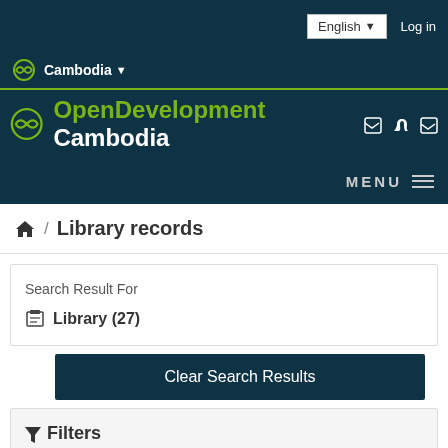English  Log in
Cambodia
OpenDevelopment Cambodia
MENU
/ Library records
Search Result For
Library (27)
Clear Search Results
Filters
Country